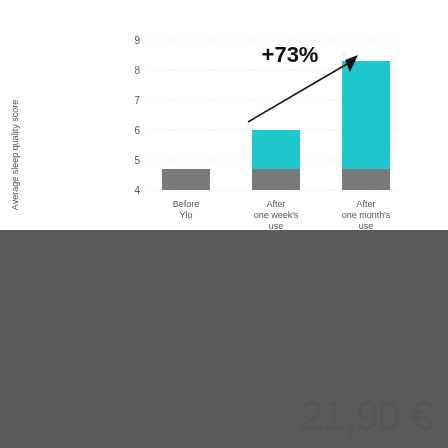[Figure (bar-chart): +73%]
*Clinical study N. 17/YT/SOM/079 under medical control – April 2017– carried out on 27 adults, self-assessment of sleep quality on a numerical scale of 1 (very poor) to 10 (excellent)
Use of cookies
By pursuing your navigation without changing your settings, you accept the use of cookies or similar technologies to provide services and offers tailored to your interests and to secure transactions on our website. For more information, to manage or to adjust the settings, please click here
21,90 €